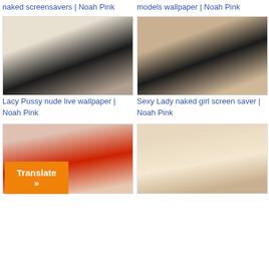naked screensavers | Noah Pink
models wallpaper | Noah Pink
[Figure (photo): Woman in black lacy cat costume posing on white background]
[Figure (photo): Woman from behind in black strappy lingerie]
Lacy Pussy nude live wallpaper | Noah Pink
Sexy Lady naked girl screen saver | Noah Pink
[Figure (photo): Woman in red sequin dress posing]
[Figure (photo): Blonde woman in white lingerie posing from behind]
Translate »